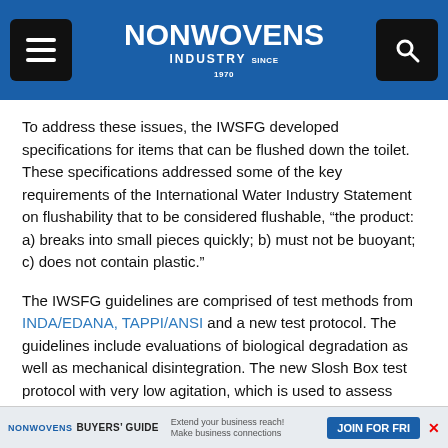NONWOVENS INDUSTRY
To address these issues, the IWSFG developed specifications for items that can be flushed down the toilet. These specifications addressed some of the key requirements of the International Water Industry Statement on flushability that to be considered flushable, “the product: a) breaks into small pieces quickly; b) must not be buoyant; c) does not contain plastic.”
The IWSFG guidelines are comprised of test methods from INDA/EDANA, TAPPI/ANSI and a new test protocol. The guidelines include evaluations of biological degradation as well as mechanical disintegration. The new Slosh Box test protocol with very low agitation, which is used to assess mechanical disintegration, is considered particularly challenging.
NONWOVENS BUYERS' GUIDE — Extend your business reach! Make business connections — JOIN FOR FRE...